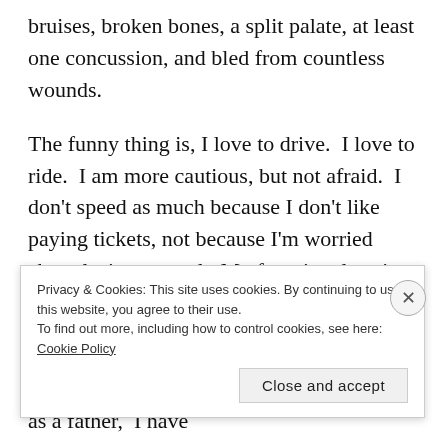bruises, broken bones, a split palate, at least one concussion, and bled from countless wounds.
The funny thing is, I love to drive.  I love to ride.  I am more cautious, but not afraid.  I don’t speed as much because I don’t like paying tickets, not because I’m worried about losing control.  My favorite place is the driver seat.
So why is it, that as I’ve failed in business, failed in ministry, failed as a husband, failed as a father,  I have
Privacy & Cookies: This site uses cookies. By continuing to use this website, you agree to their use.
To find out more, including how to control cookies, see here: Cookie Policy
Close and accept